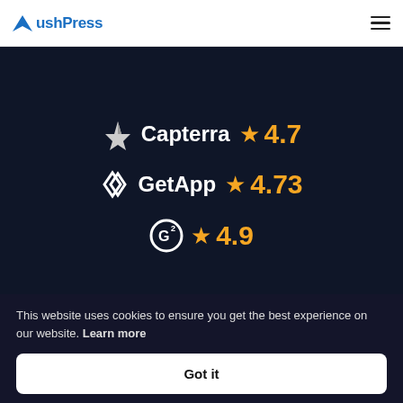PushPress
[Figure (infographic): Rating badges: Capterra 4.7, GetApp 4.73, G2 4.9]
This website uses cookies to ensure you get the best experience on our website. Learn more
Got it